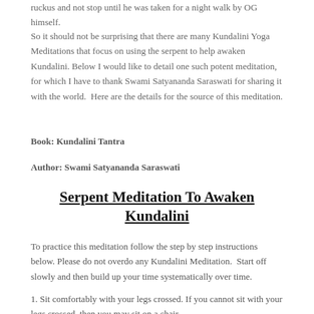ruckus and not stop until he was taken for a night walk by OG himself.
So it should not be surprising that there are many Kundalini Yoga Meditations that focus on using the serpent to help awaken Kundalini. Below I would like to detail one such potent meditation, for which I have to thank Swami Satyananda Saraswati for sharing it with the world. Here are the details for the source of this meditation.
Book: Kundalini Tantra
Author: Swami Satyananda Saraswati
Serpent Meditation To Awaken Kundalini
To practice this meditation follow the step by step instructions below. Please do not overdo any Kundalini Meditation. Start off slowly and then build up your time systematically over time.
1. Sit comfortably with your legs crossed. If you cannot sit with your legs crossed, then you may sit on a chair.